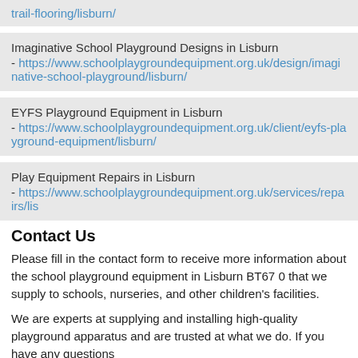trail-flooring/lisburn/ - https://www.schoolplaygroundequipment.org.uk/design/imaginative-school-playground/lisburn/
Imaginative School Playground Designs in Lisburn - https://www.schoolplaygroundequipment.org.uk/design/imaginative-school-playground/lisburn/
EYFS Playground Equipment in Lisburn - https://www.schoolplaygroundequipment.org.uk/client/eyfs-playground-equipment/lisburn/
Play Equipment Repairs in Lisburn - https://www.schoolplaygroundequipment.org.uk/services/repairs/lis
Contact Us
Please fill in the contact form to receive more information about the school playground equipment in Lisburn BT67 0 that we supply to schools, nurseries, and other children's facilities.
We are experts at supplying and installing high-quality playground apparatus and are trusted at what we do. If you have any questions